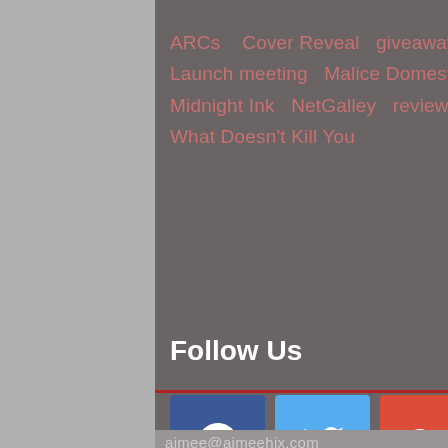ARCs   Cover Reveal   giveaway   GoodReads
Launch meeting   Malice Domestic
Midnight Ink   NetGalley   reviews   Title
What Doesn't Kill You
Follow Us
[Figure (infographic): Social media buttons: Facebook (blue), Twitter (light blue), Google+ (red)]
aimee@aimeehix.com